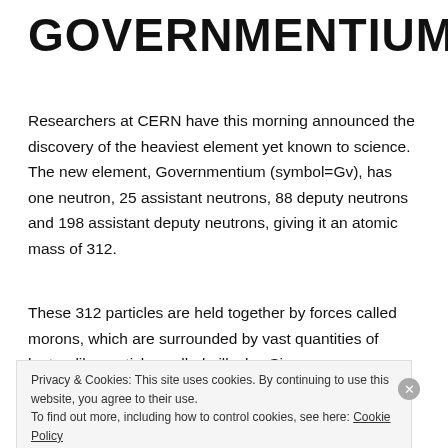GOVERNMENTIUM
Researchers at CERN have this morning announced the discovery of the heaviest element yet known to science. The new element, Governmentium (symbol=Gv), has one neutron, 25 assistant neutrons, 88 deputy neutrons and 198 assistant deputy neutrons, giving it an atomic mass of 312.
These 312 particles are held together by forces called morons, which are surrounded by vast quantities of lepton-like particles called pillocks. Since Governmentium has no
Privacy & Cookies: This site uses cookies. By continuing to use this website, you agree to their use.
To find out more, including how to control cookies, see here: Cookie Policy
Close and accept